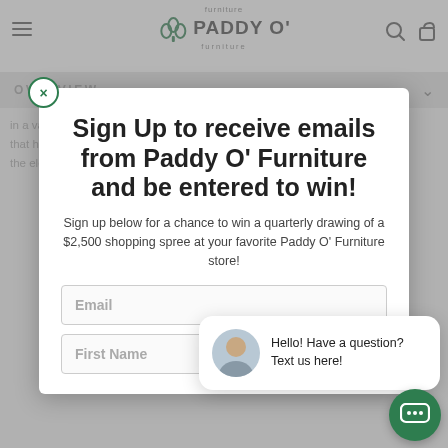[Figure (screenshot): Paddy O' Furniture website navigation bar with hamburger menu, logo with shamrock icon, search and cart icons]
OVERVIEW
in a variety of vibrant, soft and stylish colors that ha... ...protect against the elements
Sign Up to receive emails from Paddy O' Furniture and be entered to win!
Sign up below for a chance to win a quarterly drawing of a $2,500 shopping spree at your favorite Paddy O' Furniture store!
Email
First Name
Hello! Have a question? Text us here!